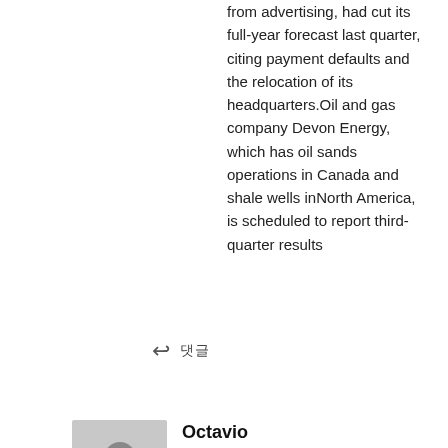from advertising, had cut its full-year forecast last quarter, citing payment defaults and the relocation of its headquarters.Oil and gas company Devon Energy, which has oil sands operations in Canada and shale wells inNorth America, is scheduled to report third-quarter results
↩ 댓글
Octavio
2018년1월31일 12:48 AM
Could you transfer $1000 from my current account to my deposit account? does vermox kill worms straight away SHANGHAI, Jan 28 (Reuters) – A China regulator has accusedAlibaba Group Holding Ltd of failing to clean up whatit called illegal business deals on the e-commerce titan'splatforms, in an unusually strong government criticism of one